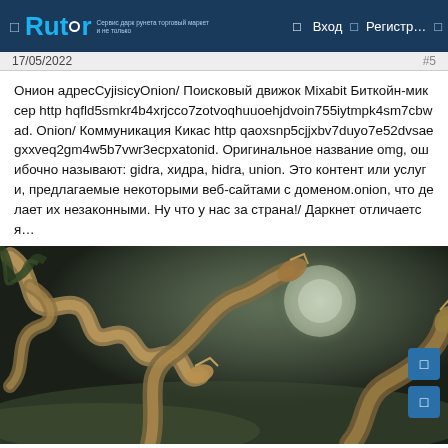Rutor — Вход | Регистр...
17/05/2022
Онион адресCyjisicyOnion/ Поисковый движок Mixabit Биткойн-миксер http hqfld5smkr4b4xrjcco7zotvoqhuuoehjdvoin755iytmpk4sm7cbwad. Onion/ Коммуникация Кикас http qaoxsnp5cjjxbv7duyo7e52dvsaegxxveq2gm4w5b7vwr3ecpxatonid. Оригинальное название omg, ошибочно называют: gidra, хидра, hidra, union. Это контент или услуги, предлагаемые некоторыми веб-сайтами с доменом.onion, что делает их незаконными. Ну что у нас за страна!/ Даркнет отличается…
[Figure (illustration): Fantasy illustration showing multiple serpentine dragons with golden scales against a dark misty background]